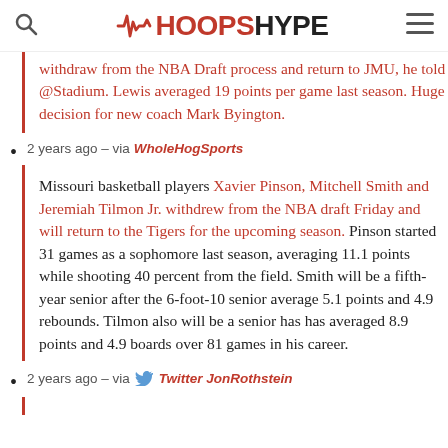HoopsHype
withdraw from the NBA Draft process and return to JMU, he told @Stadium. Lewis averaged 19 points per game last season. Huge decision for new coach Mark Byington.
2 years ago – via WholeHogSports
Missouri basketball players Xavier Pinson, Mitchell Smith and Jeremiah Tilmon Jr. withdrew from the NBA draft Friday and will return to the Tigers for the upcoming season. Pinson started 31 games as a sophomore last season, averaging 11.1 points while shooting 40 percent from the field. Smith will be a fifth-year senior after the 6-foot-10 senior average 5.1 points and 4.9 rebounds. Tilmon also will be a senior has has averaged 8.9 points and 4.9 boards over 81 games in his career.
2 years ago – via Twitter JonRothstein